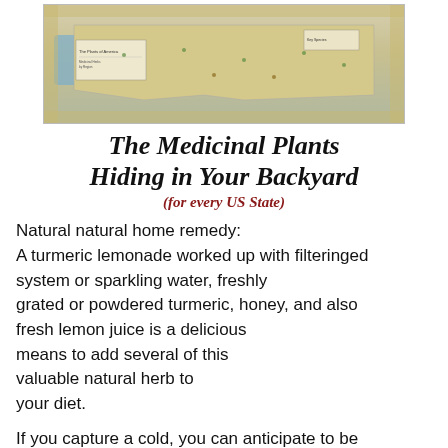[Figure (map): Illustrated map of the United States showing medicinal plants by region, with decorative botanical illustrations around the border and colored regions indicating different plant zones.]
The Medicinal Plants Hiding in Your Backyard (for every US State)
Natural natural home remedy: A turmeric lemonade worked up with filteringed system or sparkling water, freshly grated or powdered turmeric, honey, and also fresh lemon juice is a delicious means to add several of this valuable natural herb to your diet.
If you capture a cold, you can anticipate to be sick for one to two weeks. That does not